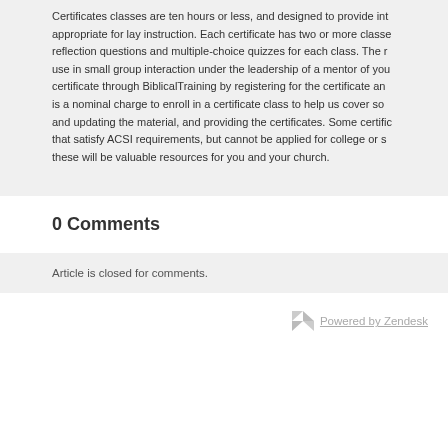Certificates classes are ten hours or less, and designed to provide int… appropriate for lay instruction. Each certificate has two or more classe… reflection questions and multiple-choice quizzes for each class. The r… use in small group interaction under the leadership of a mentor of you… certificate through BiblicalTraining by registering for the certificate an… is a nominal charge to enroll in a certificate class to help us cover so… and updating the material, and providing the certificates. Some certific… that satisfy ACSI requirements, but cannot be applied for college or s… these will be valuable resources for you and your church.
0 Comments
Article is closed for comments.
Powered by Zendesk